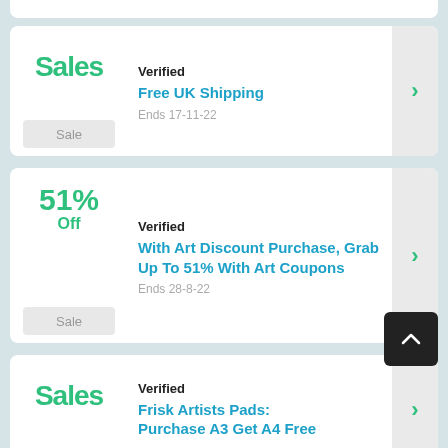Verified
Free UK Shipping
Ends 17-11-22
Verified
With Art Discount Purchase, Grab Up To 51% With Art Coupons
Ends 28-8-22
Verified
Frisk Artists Pads: Purchase A3 Get A4 Free